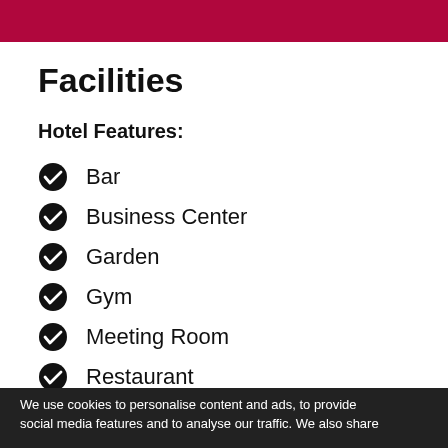[Figure (other): Red banner/header bar at top of page]
Facilities
Hotel Features:
Bar
Business Center
Garden
Gym
Meeting Room
Restaurant
Sun terrace
Terrace
Hotel Services:
We use cookies to personalise content and ads, to provide social media features and to analyse our traffic. We also share